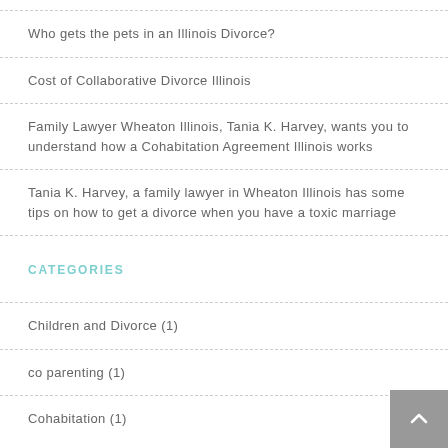Who gets the pets in an Illinois Divorce?
Cost of Collaborative Divorce Illinois
Family Lawyer Wheaton Illinois, Tania K. Harvey, wants you to understand how a Cohabitation Agreement Illinois works
Tania K. Harvey, a family lawyer in Wheaton Illinois has some tips on how to get a divorce when you have a toxic marriage
CATEGORIES
Children and Divorce (1)
co parenting (1)
Cohabitation (1)